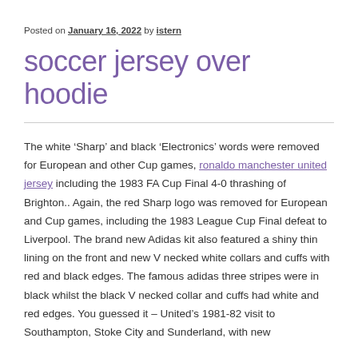Posted on January 16, 2022 by istern
soccer jersey over hoodie
The white ‘Sharp’ and black ‘Electronics’ words were removed for European and other Cup games, ronaldo manchester united jersey including the 1983 FA Cup Final 4-0 thrashing of Brighton.. Again, the red Sharp logo was removed for European and Cup games, including the 1983 League Cup Final defeat to Liverpool. The brand new Adidas kit also featured a shiny thin lining on the front and new V necked white collars and cuffs with red and black edges. The famous adidas three stripes were in black whilst the black V necked collar and cuffs had white and red edges. You guessed it – United’s 1981-82 visit to Southampton, Stoke City and Sunderland, with new